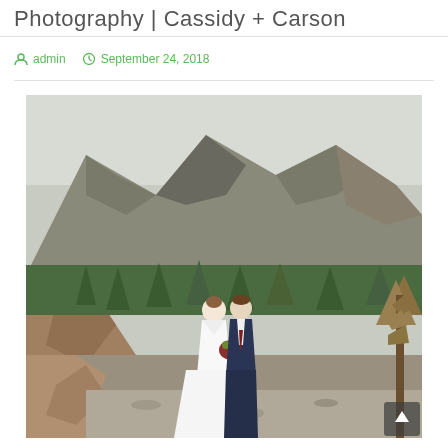Photography | Cassidy + Carson
admin   September 24, 2018
[Figure (photo): Wedding couple standing in front of dramatic rocky mountain landscape with evergreen trees. Bride in white dress holding bouquet, groom in navy suit, facing each other intimately. Rocky terrain and cloudy sky in background.]